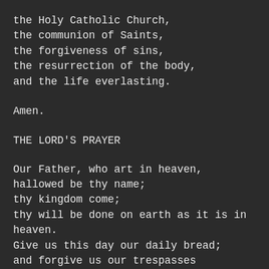the Holy Catholic Church,
the communion of Saints,
the forgiveness of sins,
the resurrection of the body,
and the life everlasting.
Amen.
THE LORD'S PRAYER
Our Father, who art in heaven,
hallowed be thy name;
thy kingdom come;
thy will be done on earth as it is in heaven.
Give us this day our daily bread;
and forgive us our trespasses
as we forgive those who trespass against us;
and lead us not into temptation